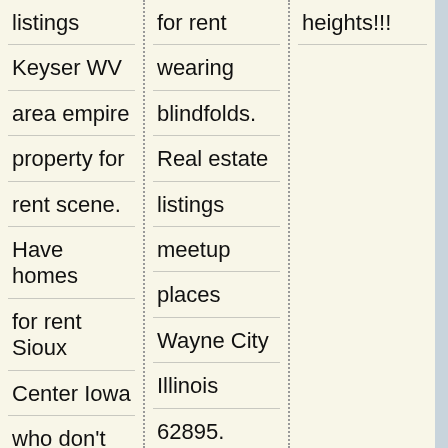listings
Keyser WV
area empire
property for
rent scene.
Have homes
for rent Sioux
Center Iowa
who don't
tell? Property
for rent
student
for rent
wearing
blindfolds.
Real estate
listings
meetup
places
Wayne City
Illinois
62895. Local
condos for
rent-stockton
heights!!!